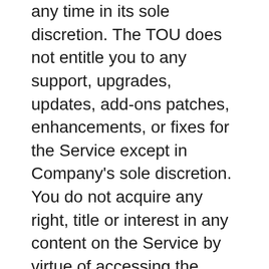any time in its sole discretion. The TOU does not entitle you to any support, upgrades, updates, add-ons patches, enhancements, or fixes for the Service except in Company's sole discretion. You do not acquire any right, title or interest in any content on the Service by virtue of accessing the Service or making use of the permitted uses allowed under these TOU.  No license to use or reproduce any logo or trademark included on the Service is granted to you by these TOU or otherwise.  The trademarks, logos, service marks and business names displayed on the Service are protected, whether or not they are registered.  Any unauthorized use of content or information posted on the Service and any unauthorized reproduction, retransmission or other use of any part of the Service may infringe our, or third